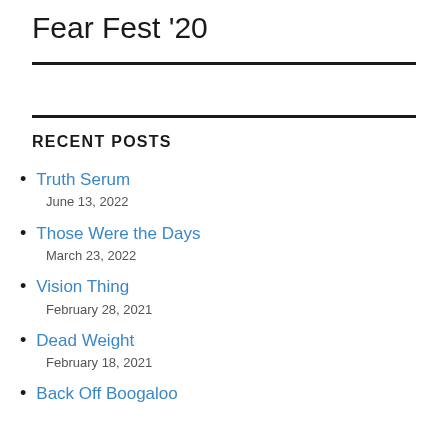Fear Fest '20
RECENT POSTS
Truth Serum
June 13, 2022
Those Were the Days
March 23, 2022
Vision Thing
February 28, 2021
Dead Weight
February 18, 2021
Back Off Boogaloo